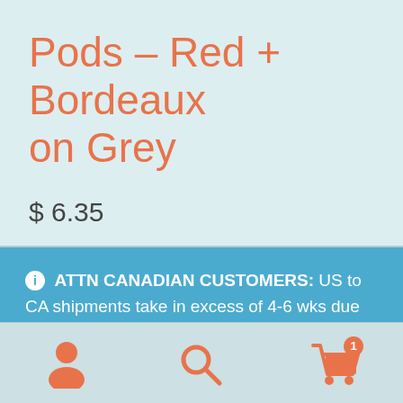Pods – Red + Bordeaux on Grey
$ 6.35
ⓘ ATTN CANADIAN CUSTOMERS: US to CA shipments take in excess of 4-6 wks due to Covid-19; every package sits in quarantine 2 wks in US then 2 wks in CA before delivery. All shipments to Canada may incur duties/taxes which the customer is responsible for. Dismiss
[Figure (infographic): Bottom navigation bar with three icons: user/account icon, search icon, and shopping cart icon with badge showing '1']